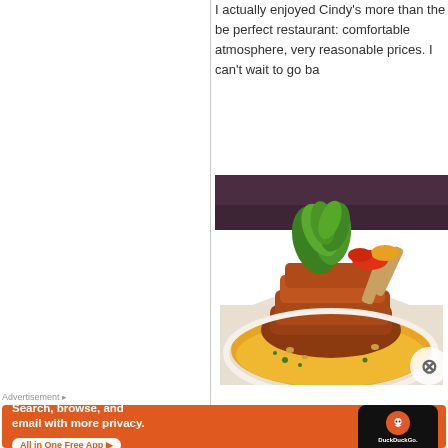I actually enjoyed Cindy's more than the be perfect restaurant: comfortable atmosphere, very reasonable prices. I can't wait to go ba
[Figure (photo): Plated food dish: braised or roasted meat garnished with fresh green basil leaves, served in a golden-orange sauce on a white plate]
Advertisement
[Figure (other): DuckDuckGo advertisement banner: orange background with text 'Search, browse, and email with more privacy. All in One Free App' and a phone mockup showing DuckDuckGo logo]